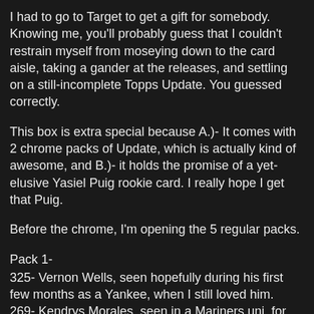I had to go to Target to get a gift for somebody. Knowing me, you'll probably guess that I couldn't restrain myself from moseying down to the card aisle, taking a gander at the releases, and settling on a still-incomplete Topps Update. You guessed correctly.
This box is extra special because A.)- It comes with 2 chrome packs of Update, which is actually kind of awesome, and B.)- it holds the promise of a yet-elusive Yasiel Puig rookie card. I really hope I get that Puig.
Before the chrome, I'm opening the 5 regular packs.
Pack 1-
325- Vernon Wells, seen hopefully during his first few months as a Yankee, when I still loved him.
269- Kendrys Morales, seen in a Mariners uni, for one of what seems like the few times he played.
129- Davis Wright HRD card.
207- Matt Thornton
Hyunjin Ryu Making their Mark insert, which is pretty nice.
Then here the Packman, which would be a great one to...